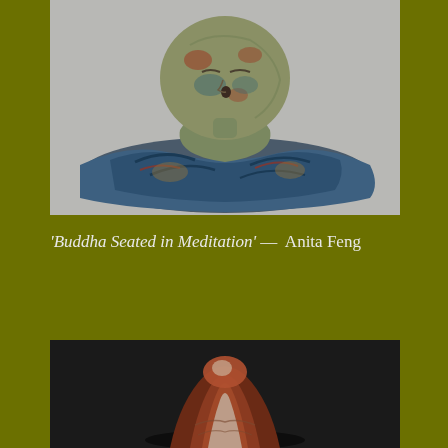[Figure (photo): Ceramic sculpture of Buddha Seated in Meditation by Anita Feng, shown reclining with colorful blue, green, red and ochre glazes on a grey background. The sculpture features a round head and flowing robes.]
'Buddha Seated in Meditation' — Anita Feng
[Figure (photo): Partial view of another sculpture on a dark background, showing a rounded form with reddish-brown and silvery metallic colors, partially visible at the bottom of the page.]